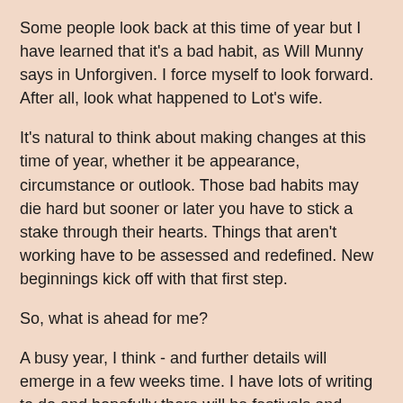Some people look back at this time of year but I have learned that it's a bad habit, as Will Munny says in Unforgiven. I force myself to look forward. After all, look what happened to Lot's wife.
It's natural to think about making changes at this time of year, whether it be appearance, circumstance or outlook. Those bad habits may die hard but sooner or later you have to stick a stake through their hearts. Things that aren't working have to be assessed and redefined. New beginnings kick off with that first step.
So, what is ahead for me?
A busy year, I think - and further details will emerge in a few weeks time. I have lots of writing to do and hopefully there will be festivals and events in libraries and bookshops.
And because it's going to be extremely busy there are changes I will have to make changes to my daily routine.
Basically, I will have to stop faffing around and get my butt in gear. My day will have to be structured in a way that it hasn't